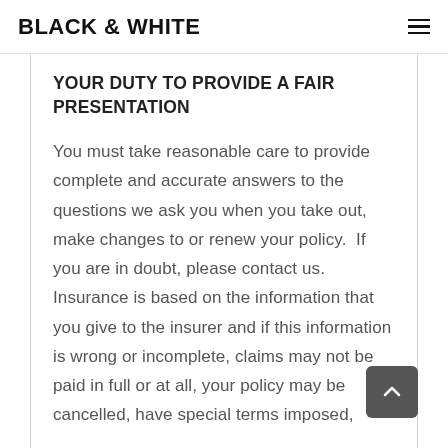BLACK & WHITE
YOUR DUTY TO PROVIDE A FAIR PRESENTATION
You must take reasonable care to provide complete and accurate answers to the questions we ask you when you take out, make changes to or renew your policy.  If you are in doubt, please contact us.  Insurance is based on the information that you give to the insurer and if this information is wrong or incomplete, claims may not be paid in full or at all, your policy may be cancelled, have special terms imposed,